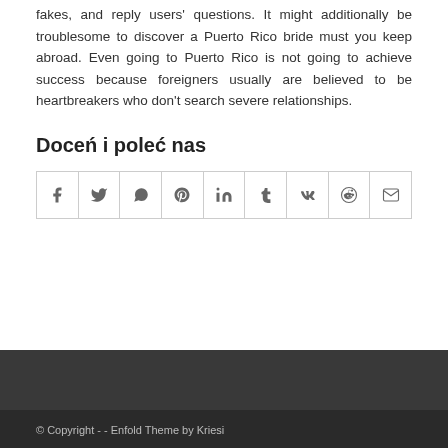fakes, and reply users' questions. It might additionally be troublesome to discover a Puerto Rico bride must you keep abroad. Even going to Puerto Rico is not going to achieve success because foreigners usually are believed to be heartbreakers who don't search severe relationships.
Doceń i poleć nas
[Figure (other): Social sharing buttons grid with icons for Facebook, Twitter, WhatsApp, Pinterest, LinkedIn, Tumblr, VK, Reddit, and Mail]
© Copyright - - Enfold Theme by Kriesi